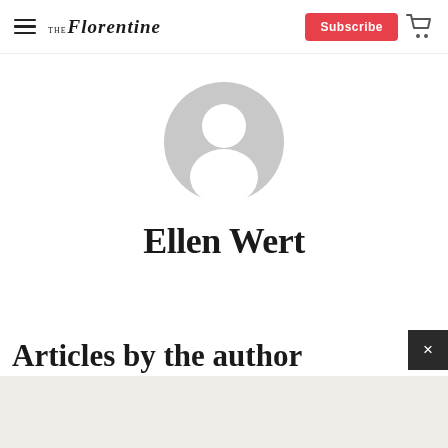The Florentine – Subscribe
[Figure (illustration): Generic grey user avatar circle icon — circular grey silhouette of a person on white background]
Ellen Wert
Articles by the author